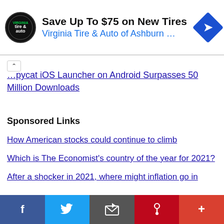[Figure (screenshot): Advertisement banner for Virginia Tire & Auto of Ashburn featuring logo, headline 'Save Up To $75 on New Tires', subtext 'Virginia Tire & Auto of Ashburn ...', and a blue diamond navigation icon]
...pycat iOS Launcher on Android Surpasses 50 Million Downloads
Sponsored Links
How American stocks could continue to climb
Which is The Economist's country of the year for 2021?
After a shocker in 2021, where might inflation go in
[Figure (screenshot): Social media share bar at bottom with Facebook, Twitter, Email, Pinterest, and More buttons]